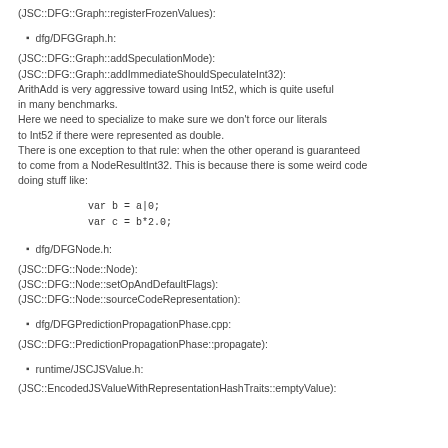(JSC::DFG::Graph::registerFrozenValues):
dfg/DFGGraph.h:
(JSC::DFG::Graph::addSpeculationMode):
(JSC::DFG::Graph::addImmediateShouldSpeculateInt32):
ArithAdd is very aggressive toward using Int52, which is quite useful in many benchmarks.
Here we need to specialize to make sure we don't force our literals to Int52 if there were represented as double.
There is one exception to that rule: when the other operand is guaranteed to come from a NodeResultInt32. This is because there is some weird code doing stuff like:
var b = a|0;
var c = b*2.0;
dfg/DFGNode.h:
(JSC::DFG::Node::Node):
(JSC::DFG::Node::setOpAndDefaultFlags):
(JSC::DFG::Node::sourceCodeRepresentation):
dfg/DFGPredictionPropagationPhase.cpp:
(JSC::DFG::PredictionPropagationPhase::propagate):
runtime/JSCJSValue.h:
(JSC::EncodedJSValueWithRepresentationHashTraits::emptyValue):